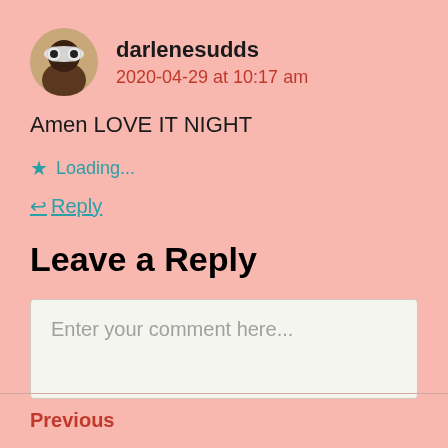[Figure (photo): Circular avatar photo of a person wearing large white sunglasses]
darlenesudds
2020-04-29 at 10:17 am
Amen LOVE IT NIGHT
Loading...
Reply
Leave a Reply
Enter your comment here...
Previous